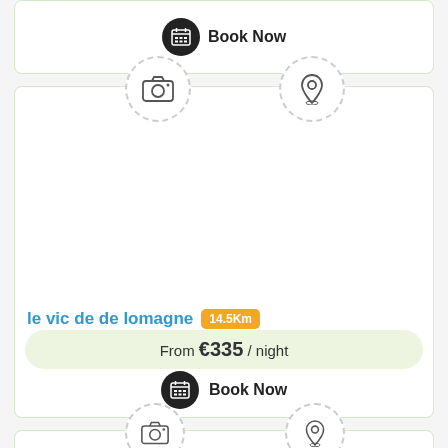[Figure (screenshot): Top partial card showing Book Now button with calendar icon]
[Figure (screenshot): Main listing card for 'le vic de de lomagne' with camera and location icons, blank image area, distance badge 14.5Km, price From €335/night, and Book Now button]
le vic de de lomagne
14.5Km
From €335 / night
Book Now
[Figure (screenshot): Bottom partial card showing camera and location icons]